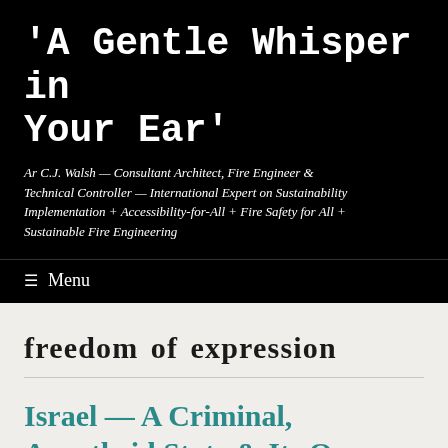'A Gentle Whisper in Your Ear'
Ar C.J. Walsh — Consultant Architect, Fire Engineer & Technical Controller — International Expert on Sustainability Implementation + Accessibility-for-All + Fire Safety for All + Sustainable Fire Engineering
≡  Menu
freedom of expression
Israel — A Criminal, Apartheid State & Its Own Worst Enemy !